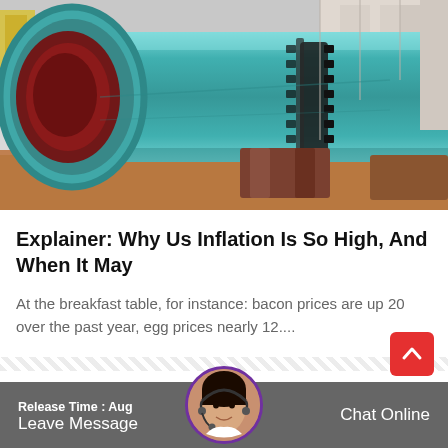[Figure (photo): A large green rotary kiln/drum industrial equipment photographed in a factory or outdoor industrial setting. The cylindrical drum is painted teal/green, with a circular dark red opening on the left side. A black gear ring is visible on the right portion. The equipment rests on support structures on a sandy/earthen floor.]
Explainer: Why Us Inflation Is So High, And When It May
At the breakfast table, for instance: bacon prices are up 20 over the past year, egg prices nearly 12....
Release Time : Aug  Leave Message  Chat Online